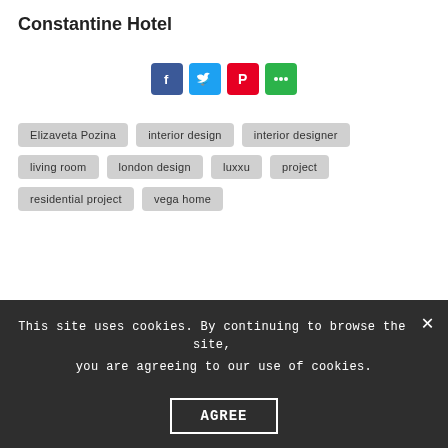Constantine Hotel
[Figure (infographic): Social sharing buttons: Facebook (blue), Twitter (cyan), Pinterest (red), More (green)]
Elizaveta Pozina
interior design
interior designer
living room
london design
luxxu
project
residential project
vega home
This site uses cookies. By continuing to browse the site, you are agreeing to our use of cookies.
AGREE